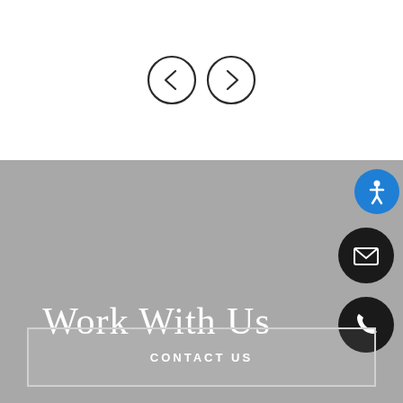[Figure (illustration): Two circular navigation arrows (left chevron and right chevron) with dark outlines on white background]
[Figure (illustration): Gray background footer section with accessibility icon (blue circle with white person figure), email icon (black circle with white envelope), phone icon (black circle with white telephone handset)]
Work With Us
CONTACT US